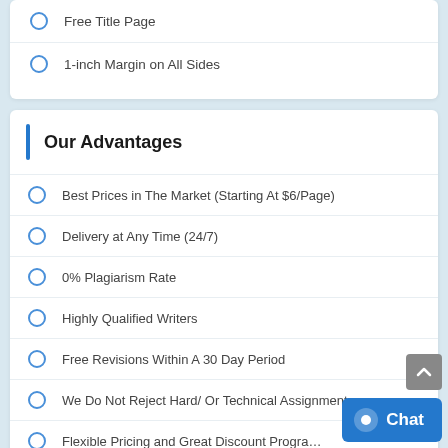Free Title Page
1-inch Margin on All Sides
Our Advantages
Best Prices in The Market (Starting At $6/Page)
Delivery at Any Time (24/7)
0% Plagiarism Rate
Highly Qualified Writers
Free Revisions Within A 30 Day Period
We Do Not Reject Hard/ Or Technical Assignments
Flexible Pricing and Great Discount Progr…